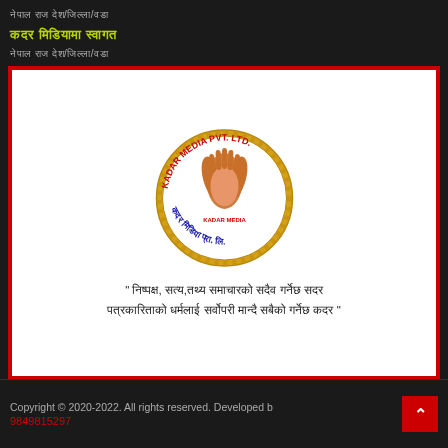नेपाल राज देश/जिल्ला/वडा
कदर मिडियामा स्वागत
नेपाल राज देश/जिल्ला/वडा
[Figure (logo): Kadar Media Pvt. Ltd. circular logo with folded hands, laurel wreath border, text in Devanagari and English]
" निष्पक्ष, सत्य,तथ्य समाचारको सदैव गर्नेछ सदर पत्रकारिताको धर्मलाई सर्वोपरी मान्दै सबैको गर्नेछ कदर "
Copyright © 2020-2022. All rights reserved. Developed b... 9849815297